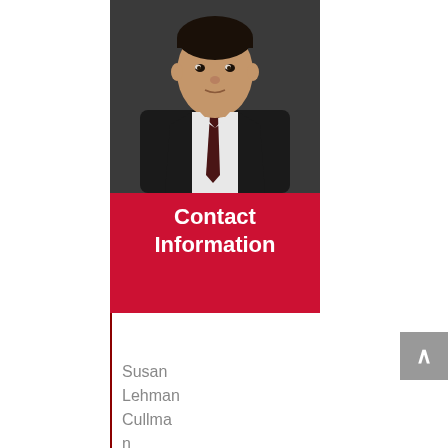[Figure (photo): Professional headshot of a man in a dark suit and dark tie, white shirt, cropped at the chest]
Contact Information
Susan Lehman Cullman Laboratory for Cancer Researc...